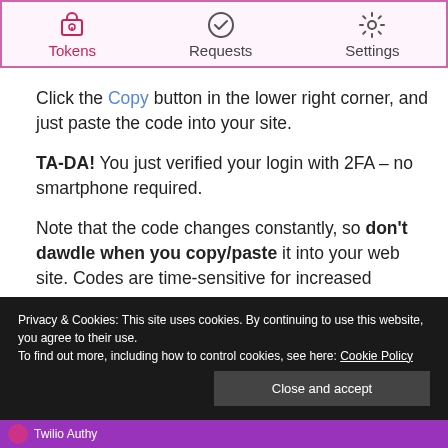[Figure (screenshot): Navigation bar with three tabs: Tokens (active, red icon), Requests (checkmark icon), Settings (gear icon), with pink/purple border]
Click the Copy button in the lower right corner, and just paste the code into your site.
TA-DA! You just verified your login with 2FA – no smartphone required.
Note that the code changes constantly, so don't dawdle when you copy/paste it into your web site. Codes are time-sensitive for increased security.
Privacy & Cookies: This site uses cookies. By continuing to use this website, you agree to their use. To find out more, including how to control cookies, see here: Cookie Policy
Twilio Authy